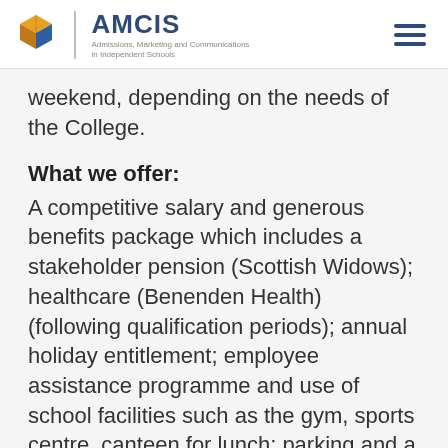AMCIS — Admissions, Marketing and Communications in Independent Schools
weekend, depending on the needs of the College.
What we offer:
A competitive salary and generous benefits package which includes a stakeholder pension (Scottish Widows); healthcare (Benenden Health) (following qualification periods); annual holiday entitlement; employee assistance programme and use of school facilities such as the gym, sports centre, canteen for lunch; parking and a staff fee remission for pupils attending the College.